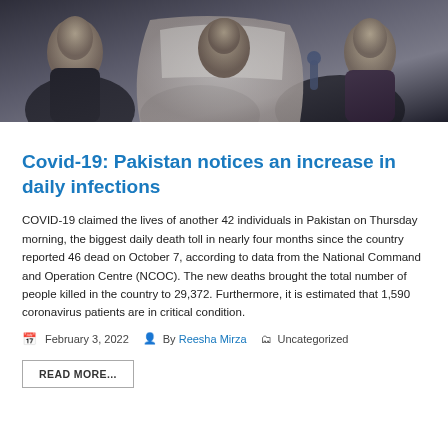[Figure (photo): Crowd of people, appears to be an outdoor gathering, dark tones]
Covid-19: Pakistan notices an increase in daily infections
COVID-19 claimed the lives of another 42 individuals in Pakistan on Thursday morning, the biggest daily death toll in nearly four months since the country reported 46 dead on October 7, according to data from the National Command and Operation Centre (NCOC). The new deaths brought the total number of people killed in the country to 29,372. Furthermore, it is estimated that 1,590 coronavirus patients are in critical condition.
February 3, 2022  By Reesha Mirza  Uncategorized
READ MORE...